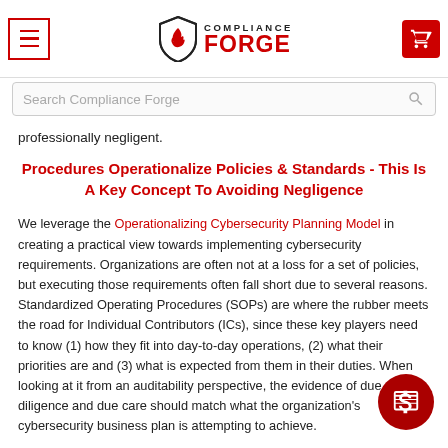Compliance Forge – navigation header with hamburger menu, logo, and cart button
Search Compliance Forge
professionally negligent.
Procedures Operationalize Policies & Standards - This Is A Key Concept To Avoiding Negligence
We leverage the Operationalizing Cybersecurity Planning Model in creating a practical view towards implementing cybersecurity requirements. Organizations are often not at a loss for a set of policies, but executing those requirements often fall short due to several reasons. Standardized Operating Procedures (SOPs) are where the rubber meets the road for Individual Contributors (ICs), since these key players need to know (1) how they fit into day-to-day operations, (2) what their priorities are and (3) what is expected from them in their duties. When looking at it from an auditability perspective, the evidence of due diligence and due care should match what the organization's cybersecurity business plan is attempting to achieve.
The central focus of any procedures should be a Capability Maturity Model (CMM) target that provides quantifiable expectations for People, Processes...